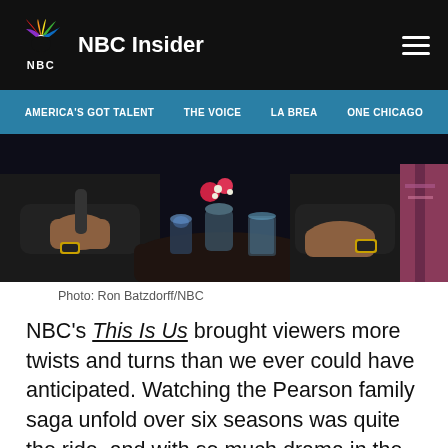NBC Insider
AMERICA'S GOT TALENT   THE VOICE   LA BREA   ONE CHICAGO
[Figure (photo): Two people seated at a small round table with a vase of flowers and glasses of water, dimly lit scene]
Photo: Ron Batzdorff/NBC
NBC's This Is Us brought viewers more twists and turns than we ever could have anticipated. Watching the Pearson family saga unfold over six seasons was quite the ride, and with so much drama in the air, it's easy to see why so many fan theories started to take